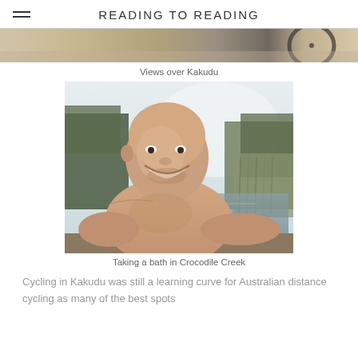READING TO READING
[Figure (photo): Cropped top portion of a photo showing views over Kakudu — sandy/rocky ground and a bicycle wheel visible at the edges]
Views over Kakudu
[Figure (photo): A shirtless man smiling at the camera taking a selfie in a natural creek/river setting with trees and reeds in the background — Taking a bath in Crocodile Creek]
Taking a bath in Crocodile Creek
Cycling in Kakudu was still a learning curve for Australian distance cycling as many of the best spots